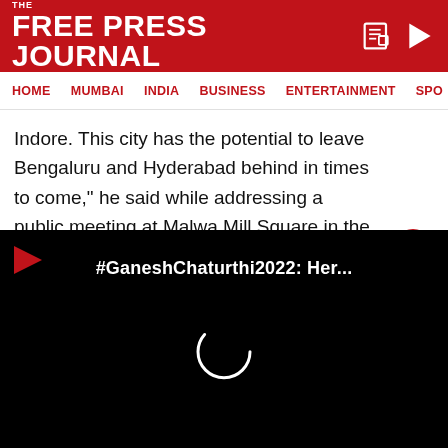THE FREE PRESS JOURNAL
HOME  MUMBAI  INDIA  BUSINESS  ENTERTAINMENT  SPO
Indore. This city has the potential to leave Bengaluru and Hyderabad behind in times to come,” he said while addressing a public meeting at Malwa Mill Square in the Indore-5 Assembly constituency.
[Figure (screenshot): Embedded video player with black background showing '#GaneshChaturthi2022: Her...' title and a loading spinner circle in the center. A red play arrow icon is in the top-left corner.]